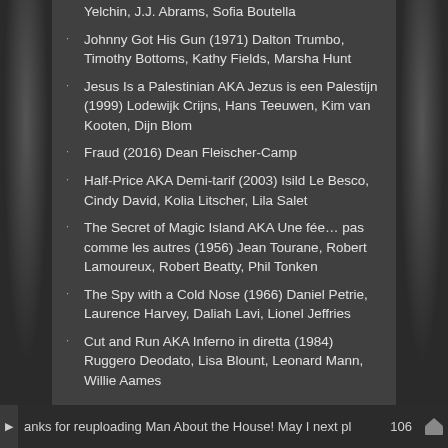Yelchin, J.J. Abrams, Sofia Boutella
Johnny Got His Gun (1971) Dalton Trumbo, Timothy Bottoms, Kathy Fields, Marsha Hunt
Jesus Is a Palestinian AKA Jezus is een Palestijn (1999) Lodewijk Crijns, Hans Teeuwen, Kim van Kooten, Dijn Blom
Fraud (2016) Dean Fleischer-Camp
Half-Price AKA Demi-tarif (2003) Isild Le Besco, Cindy David, Kolia Litscher, Lila Salet
The Secret of Magic Island AKA Une fée… pas comme les autres (1956) Jean Tourane, Robert Lamoureux, Robert Beatty, Phil Tonken
The Spy with a Cold Nose (1966) Daniel Petrie, Laurence Harvey, Daliah Lavi, Lionel Jeffries
Cut and Run AKA Inferno in diretta (1984) Ruggero Deodato, Lisa Blount, Leonard Mann, Willie Aames
anks for reuploading Man About the House! May I next pl  106